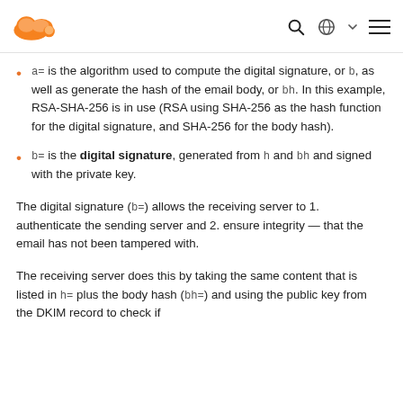Cloudflare logo with search, language, and menu icons
a= is the algorithm used to compute the digital signature, or b, as well as generate the hash of the email body, or bh. In this example, RSA-SHA-256 is in use (RSA using SHA-256 as the hash function for the digital signature, and SHA-256 for the body hash).
b= is the digital signature, generated from h and bh and signed with the private key.
The digital signature (b=) allows the receiving server to 1. authenticate the sending server and 2. ensure integrity — that the email has not been tampered with.
The receiving server does this by taking the same content that is listed in h= plus the body hash (bh=) and using the public key from the DKIM record to check if